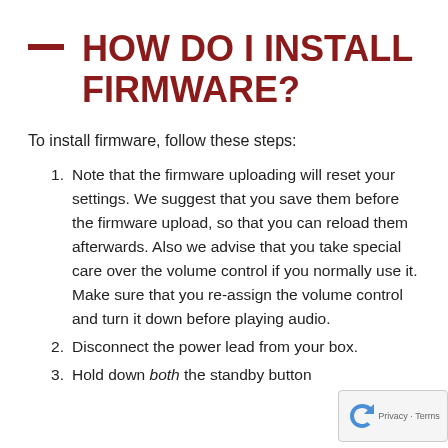HOW DO I INSTALL FIRMWARE?
To install firmware, follow these steps:
Note that the firmware uploading will reset your settings. We suggest that you save them before the firmware upload, so that you can reload them afterwards. Also we advise that you take special care over the volume control if you normally use it. Make sure that you re-assign the volume control and turn it down before playing audio.
Disconnect the power lead from your box.
Hold down both the standby button and the channel up button...